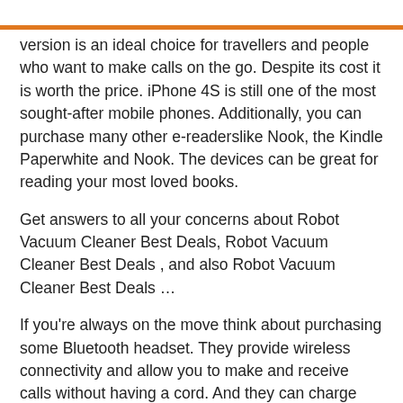version is an ideal choice for travellers and people who want to make calls on the go. Despite its cost it is worth the price. iPhone 4S is still one of the most sought-after mobile phones. Additionally, you can purchase many other e-readerslike Nook, the Kindle Paperwhite and Nook. The devices can be great for reading your most loved books.
Get answers to all your concerns about Robot Vacuum Cleaner Best Deals, Robot Vacuum Cleaner Best Deals , and also Robot Vacuum Cleaner Best Deals …
If you're always on the move think about purchasing some Bluetooth headset. They provide wireless connectivity and allow you to make and receive calls without having a cord. And they can charge numerous mobile gadgets, including smartphones